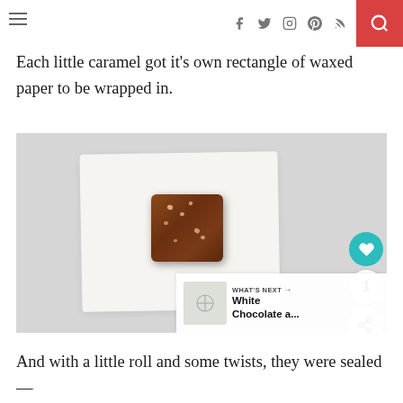navigation bar with hamburger menu, social icons (facebook, twitter, instagram, pinterest, rss), and search button
Each little caramel got it's own rectangle of waxed paper to be wrapped in.
[Figure (photo): A single caramel candy with white salt crystals on top, placed on a rectangle of white waxed/parchment paper, on a light gray background. Social share overlay buttons (heart, count 1, share) on the right side. 'What's Next' banner in the bottom right showing White Chocolate a...]
And with a little roll and some twists, they were sealed —